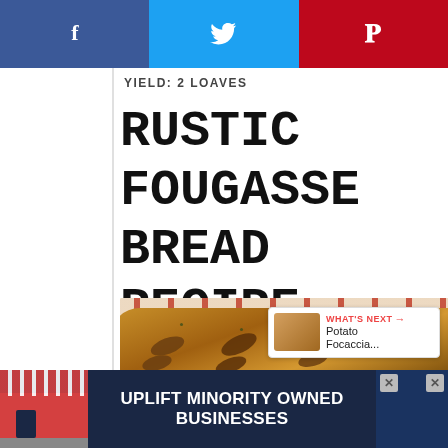[Figure (other): Social sharing bar with Facebook (blue), Twitter (light blue), and Pinterest (red) buttons showing f, bird, and P icons]
YIELD: 2 LOAVES
RUSTIC FOUGASSE BREAD RECIPE
[Figure (photo): Close-up photo of rustic fougasse bread loaves with slits cut into them, dusted with herbs and salt, resting on a striped cloth]
125
WHAT'S NEXT → Potato Focaccia...
[Figure (other): Advertisement banner: UPLIFT MINORITY OWNED BUSINESSES with storefront graphic on dark navy background]